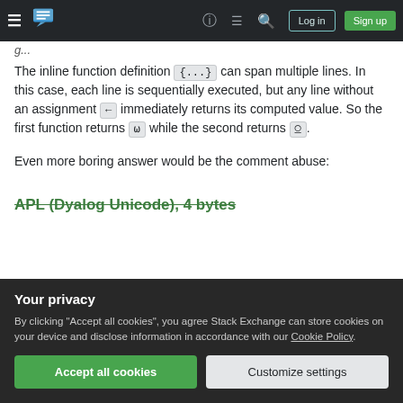Stack Exchange navigation bar with logo, help, chat, search, log in, sign up
The inline function definition {...} can span multiple lines. In this case, each line is sequentially executed, but any line without an assignment ← immediately returns its computed value. So the first function returns ω while the second returns ⍵.
Even more boring answer would be the comment abuse:
APL (Dyalog Unicode), 4 bytes
Your privacy
By clicking "Accept all cookies", you agree Stack Exchange can store cookies on your device and disclose information in accordance with our Cookie Policy.
Accept all cookies | Customize settings